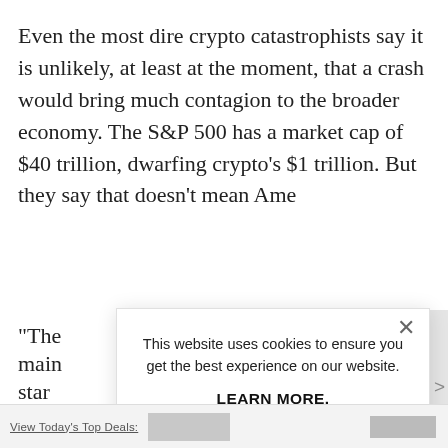Even the most dire crypto catastrophists say it is unlikely, at least at the moment, that a crash would bring much contagion to the broader economy. The S&P 500 has a market cap of $40 trillion, dwarfing crypto's $1 trillion. But they say that doesn't mean Ame
"The main star it, like com year muc "Tha
[Figure (screenshot): Cookie consent modal dialog overlaying a news article. The modal contains the text: 'This website uses cookies to ensure you get the best experience on our website.' followed by 'LEARN MORE.' in bold, and an 'ACCEPT COOKIES' button in light blue. A close (X) button is in the top-right of the modal.]
View Today's Top Deals: